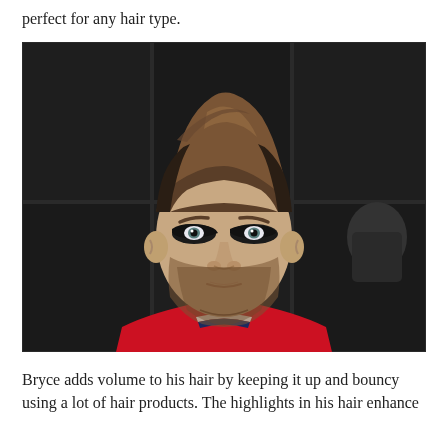perfect for any hair type.
[Figure (photo): Close-up photograph of a baseball player with styled voluminous pompadour hair, eye black painted under both eyes, beard, wearing a red baseball jersey with white collar stripe, standing in what appears to be a dugout with dark background.]
Bryce adds volume to his hair by keeping it up and bouncy using a lot of hair products. The highlights in his hair enhance